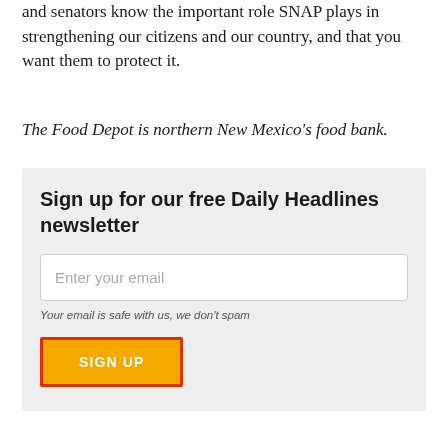and senators know the important role SNAP plays in strengthening our citizens and our country, and that you want them to protect it.
The Food Depot is northern New Mexico's food bank.
Sign up for our free Daily Headlines newsletter
Enter your email
Your email is safe with us, we don't spam
SIGN UP